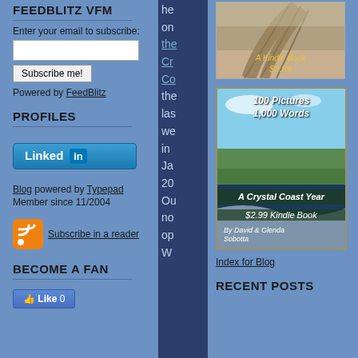FEEDBLITZ VFM
Enter your email to subscribe:
Subscribe me!
Powered by FeedBlitz
PROFILES
[Figure (logo): LinkedIn button with 'Linked in' logo]
Blog powered by Typepad
Member since 11/2004
[Figure (logo): RSS feed orange icon]
Subscribe in a reader
BECOME A FAN
[Figure (logo): Facebook Like button showing Like 0]
he
on
the
Cr
Co
the
las
we
in
Ja
20
Ou
no
op
W
[Figure (photo): Top book cover - sandy beach/road scene, A Kindle Book $2.99]
[Figure (photo): 100 Pictures 1,000 Words - A Crystal Coast Year $2.99 Kindle Book by David & Glenda Sobotta]
Index for Blog
RECENT POSTS